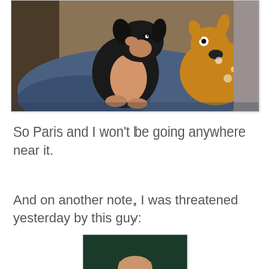[Figure (photo): A small black and tan dog (chihuahua mix) sitting on a blue blanket on a couch next to a golden stuffed animal deer/fawn toy]
So Paris and I won't be going anywhere near it.
And on another note, I was threatened yesterday by this guy:
[Figure (photo): Small partial photo of a person against a dark green background, partially cut off at bottom of page]